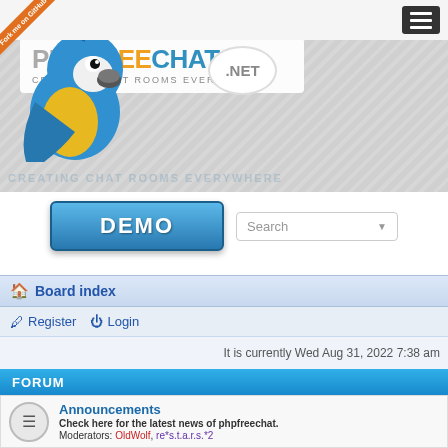[Figure (screenshot): PHPFreeChat.net website header with parrot mascot logo, 'Fork me on GitHub' ribbon, PHPFREECHAT logo with tagline 'Creating chat rooms everywhere', .NET speech bubble, DEMO button, and Search box]
Board index
Register  Login
It is currently Wed Aug 31, 2022 7:38 am
FORUM
Announcements
Check here for the latest news of phpfreechat.
Moderators: OldWolf, re*s.t.a.r.s.*2